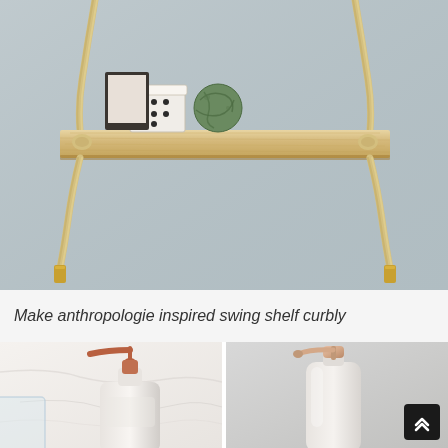[Figure (photo): A wooden swing shelf suspended by twisted rope with gold/brass end caps, hanging against a light gray wall. On the shelf sit decorative items including a polka-dot box and a green textured sphere.]
Make anthropologie inspired swing shelf curbly
[Figure (photo): Close-up of a white ceramic soap dispenser with a matte copper/rose gold pump, on a white marble surface with a glass container partially visible on the left.]
[Figure (photo): Close-up of a white ceramic soap dispenser with a shiny rose gold pump, against a light gray background. A dark scroll-to-top button appears in the bottom-right corner.]